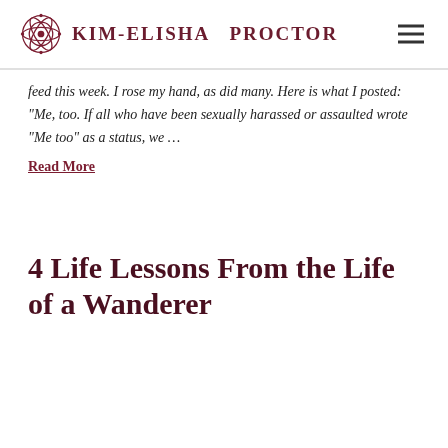KIM-ELISHA PROCTOR
feed this week. I rose my hand, as did many. Here is what I posted: “Me, too. If all who have been sexually harassed or assaulted wrote “Me too” as a status, we …
Read More
4 Life Lessons From the Life of a Wanderer